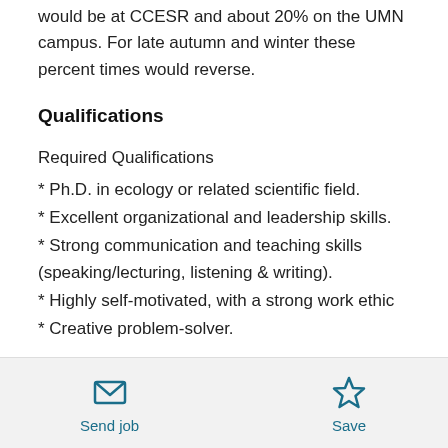would be at CCESR and about 20% on the UMN campus. For late autumn and winter these percent times would reverse.
Qualifications
Required Qualifications
* Ph.D. in ecology or related scientific field.
* Excellent organizational and leadership skills.
* Strong communication and teaching skills (speaking/lecturing, listening & writing).
* Highly self-motivated, with a strong work ethic
* Creative problem-solver.
Send job   Save